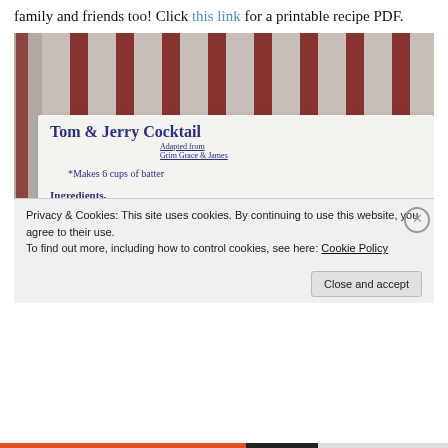family and friends too! Click this link for a printable recipe PDF.
[Figure (photo): Photograph of a handwritten recipe card on a striped fabric background. The card reads 'Tom & Jerry Cocktail, Adapted from Grim Grace & James, *Makes 6 cups of batter, Ingredients, 6 eggs separated, pinch of salt (helps w/ whipping the egg whites)']
Privacy & Cookies: This site uses cookies. By continuing to use this website, you agree to their use.
To find out more, including how to control cookies, see here: Cookie Policy
Close and accept